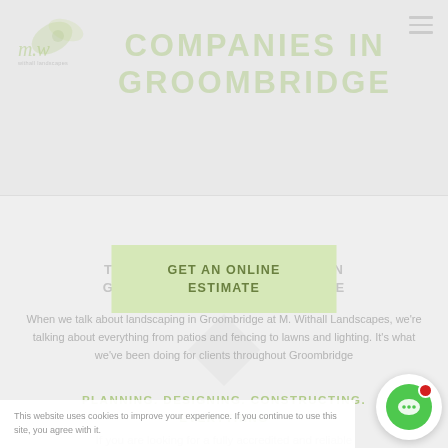[Figure (logo): M. Withall Landscapes logo with leaf graphic and italic script text]
COMPANIES IN GROOMBRIDGE
GET AN ONLINE ESTIMATE
TRADE... N IN GROOMBRIDGE... YOU LOVE
When we talk about landscaping in Groombridge at M. Withall Landscapes, we're talking about everything from patios and fencing to lawns and lighting. It's what we've been doing for clients throughout Groombridge
PLANNING. DESIGNING. CONSTRUCTING. EVERYTHING
If you are looking for a fully accredited and reliable
This website uses cookies to improve your experience. If you continue to use this site, you agree with it.